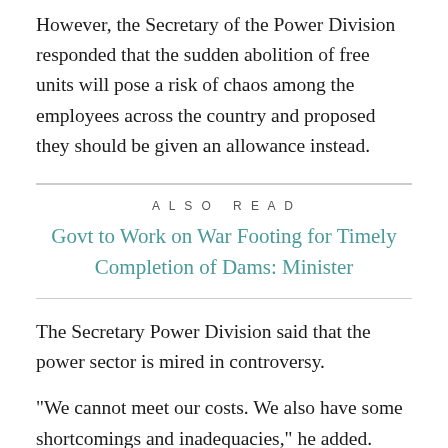However, the Secretary of the Power Division responded that the sudden abolition of free units will pose a risk of chaos among the employees across the country and proposed they should be given an allowance instead.
ALSO READ
Govt to Work on War Footing for Timely Completion of Dams: Minister
The Secretary Power Division said that the power sector is mired in controversy.
"We cannot meet our costs. We also have some shortcomings and inadequacies," he added.